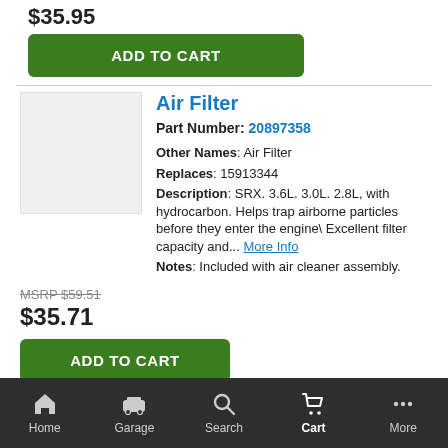$35.95
ADD TO CART
Air Filter
Part Number: 20897358
Other Names: Air Filter
Replaces: 15913344
Description: SRX. 3.6L. 3.0L. 2.8L, with hydrocarbon. Helps trap airborne particles before they enter the engine\ Excellent filter capacity and... More Info
Notes: Included with air cleaner assembly.
MSRP $59.51
$35.71
ADD TO CART
Air Filt...
Home  Garage  Search  Cart  More